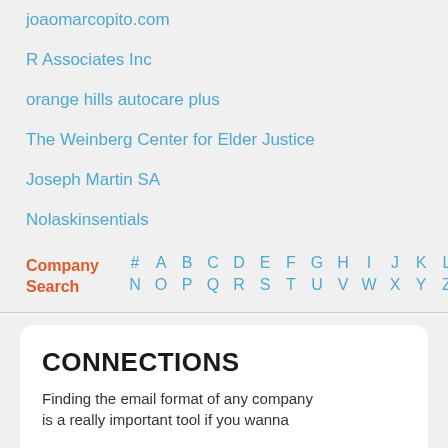joaomarcopito.com
R Associates Inc
orange hills autocare plus
The Weinberg Center for Elder Justice
Joseph Martin SA
Nolaskinsentials
Company Search
# A B C D E F G H I J K L M N O P Q R S T U V W X Y Z
CONNECTIONS
Finding the email format of any company is a really important tool if you wanna